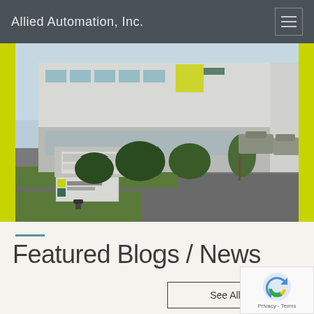Allied Automation, Inc.
[Figure (photo): Exterior photo of Allied Automation Inc. building, showing corporate signage, landscaping, and parking area with cars, yellow-green side border accents]
—
Featured Blogs / News
See All Blo